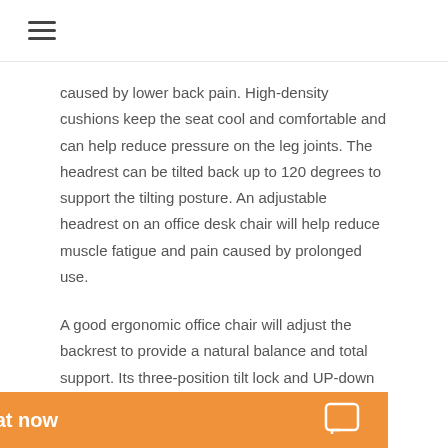≡
caused by lower back pain. High-density cushions keep the seat cool and comfortable and can help reduce pressure on the leg joints. The headrest can be tilted back up to 120 degrees to support the tilting posture. An adjustable headrest on an office desk chair will help reduce muscle fatigue and pain caused by prolonged use.
A good ergonomic office chair will adjust the backrest to provide a natural balance and total support. Its three-position tilt lock and UP-down armrests make it ideal for working, reading, playing video games, watching movies, or taking a nap. Armrests can be adjusted forward or backward and the chair comes with two detachable pillows for added support. Lumbar support is also adjustable.
An adjustable headrest on an office desk chair is a great feature. Many office ch... they can be easily adju...